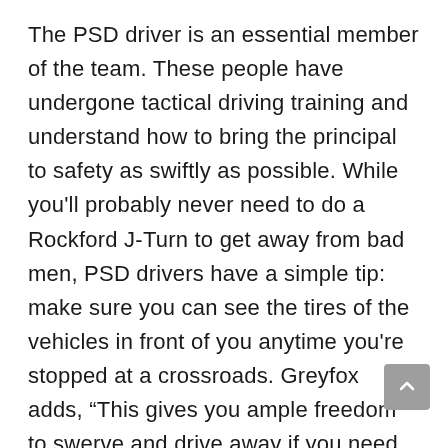The PSD driver is an essential member of the team. These people have undergone tactical driving training and understand how to bring the principal to safety as swiftly as possible. While you'll probably never need to do a Rockford J-Turn to get away from bad men, PSD drivers have a simple tip: make sure you can see the tires of the vehicles in front of you anytime you're stopped at a crossroads. Greyfox adds, “This gives you ample freedom to swerve and drive away if you need to.” Aside from threats, it provides for easier mobility if an emergency vehicle has to get through traffic if everyone is packed in...